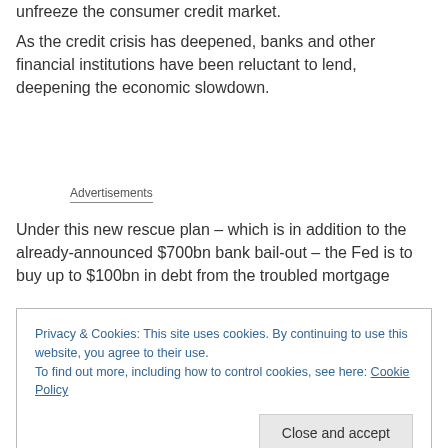unfreeze the consumer credit market.
As the credit crisis has deepened, banks and other financial institutions have been reluctant to lend, deepening the economic slowdown.
Advertisements
Under this new rescue plan – which is in addition to the already-announced $700bn bank bail-out – the Fed is to buy up to $100bn in debt from the troubled mortgage
Privacy & Cookies: This site uses cookies. By continuing to use this website, you agree to their use.
To find out more, including how to control cookies, see here: Cookie Policy